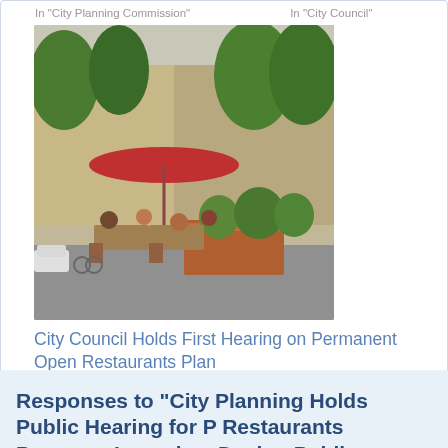In "City Planning Commission"
In "City Council"
[Figure (photo): Outdoor restaurant dining area with people seated at tables under red umbrellas, wooden planter boxes, trees, and urban street scene in background.]
City Council Holds First Hearing on Permanent Open Restaurants Plan
February 10, 2022
In "City Council"
Category : City Planning Commission
Tags : Open Res
Responses to “City Planning Holds Public Hearing for P Restaurants Program, Launches Design Public Engage